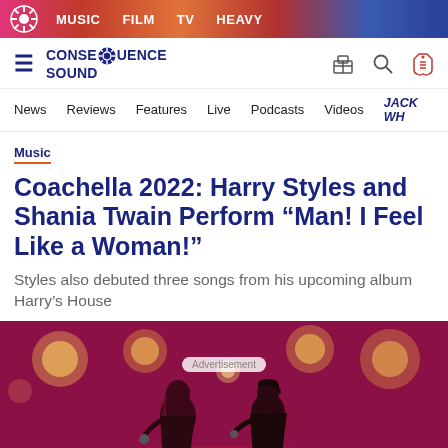MUSIC  FILM  TV  HEAVY
[Figure (screenshot): Consequence Sound website logo with hamburger menu, site icons for store, search, and deals]
News  Reviews  Features  Live  Podcasts  Videos  JACK WH
Music
Coachella 2022: Harry Styles and Shania Twain Perform “Man! I Feel Like a Woman!”
Styles also debuted three songs from his upcoming album Harry’s House
[Figure (photo): Photo of Harry Styles and Shania Twain performing on stage at Coachella 2022 with stage lights behind them, magenta/pink background. An Advertisement label overlay appears over the image.]